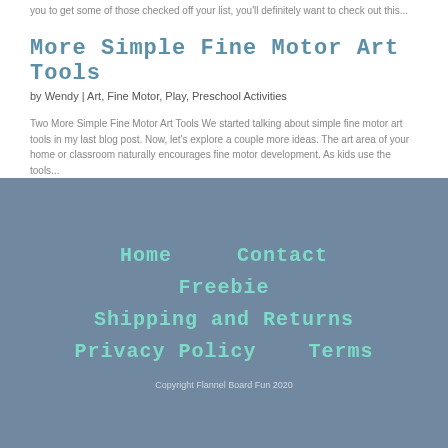you to get some of those checked off your list, you'll definitely want to check out this...
More Simple Fine Motor Art Tools
by Wendy | Art, Fine Motor, Play, Preschool Activities
Two More Simple Fine Motor Art Tools We started talking about simple fine motor art tools in my last blog post.  Now, let's explore a couple more ideas.  The art area of your home or classroom naturally encourages fine motor development.  As kids use the tools...
Home    Contact
Freebie
Shipping and Returns
Privacy Policy    Terms
Copyright Flannel Board Fun 2020